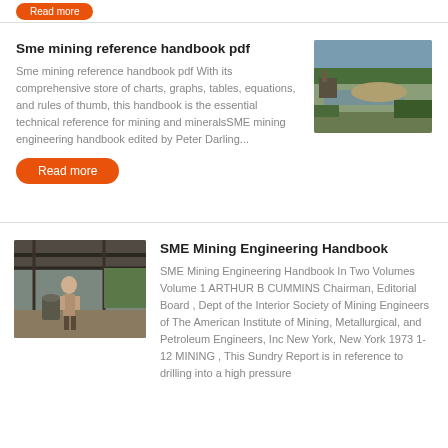[Figure (photo): Orange 'Read more' button in top bar area]
Sme mining reference handbook pdf
Sme mining reference handbook pdf With its comprehensive store of charts, graphs, tables, equations, and rules of thumb, this handbook is the essential technical reference for mining and mineralsSME mining engineering handbook edited by Peter Darling...
[Figure (photo): Aerial or ground view of a mining site with water and machinery]
Read more
SME Mining Engineering Handbook
[Figure (photo): Person standing at a mining or construction site with overhead structure]
SME Mining Engineering Handbook In Two Volumes Volume 1 ARTHUR B CUMMINS Chairman, Editorial Board , Dept of the Interior Society of Mining Engineers of The American Institute of Mining, Metallurgical, and Petroleum Engineers, Inc New York, New York 1973 1-12 MINING , This Sundry Report is in reference to drilling into a high pressure